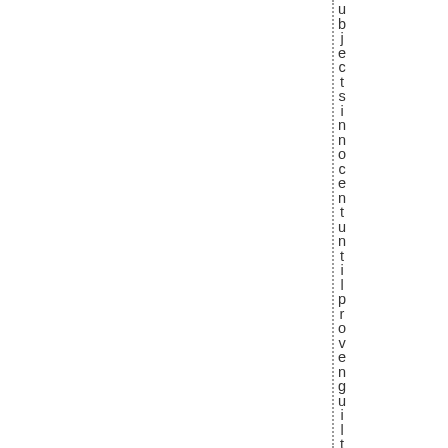ubjectsinnocentuntilprovenguil